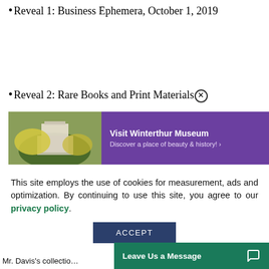Reveal 1: Business Ephemera, October 1, 2019
Reveal 2: Rare Books and Print Materials
[Figure (infographic): Advertisement banner for Winterthur Museum with purple background. Left side shows a photo of a building with yellow flowers. Text reads: Visit Winterthur Museum. Discover a place of beauty & history!]
This site employs the use of cookies for measurement, ads and optimization. By continuing to use this site, you agree to our privacy policy.
ACCEPT
Mr. Davis's collectio...
Leave Us a Message